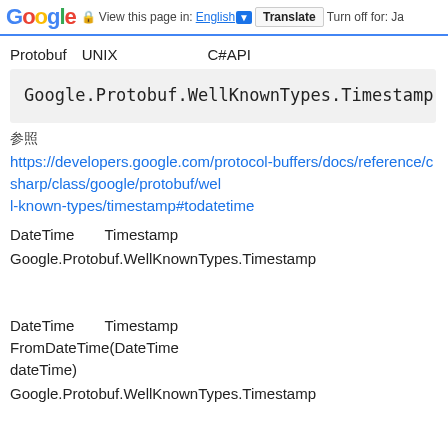Google | View this page in: English [Translate] Turn off for: Ja
Protobuf UNIX C#API
Google.Protobuf.WellKnownTypes.Timestamp
参照
https://developers.google.com/protocol-buffers/docs/reference/csharp/class/google/protobuf/well-known-types/timestamp#todatetime
DateTime Timestamp への変換
Google.Protobuf.WellKnownTypes.Timestamp のインスタンスを生成する方法
DateTime Timestamp 変換する FromDateTime(DateTime dateTime) を使う方法
Google.Protobuf.WellKnownTypes.Timestamp